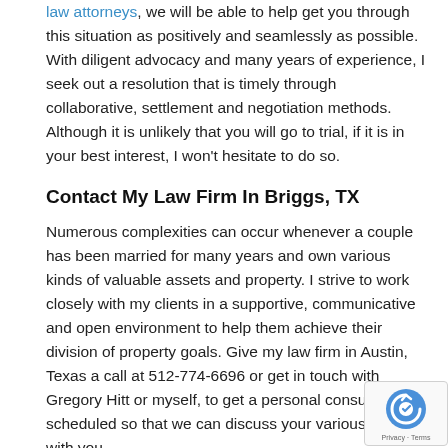law attorneys, we will be able to help get you through this situation as positively and seamlessly as possible. With diligent advocacy and many years of experience, I seek out a resolution that is timely through collaborative, settlement and negotiation methods. Although it is unlikely that you will go to trial, if it is in your best interest, I won't hesitate to do so.
Contact My Law Firm In Briggs, TX
Numerous complexities can occur whenever a couple has been married for many years and own various kinds of valuable assets and property. I strive to work closely with my clients in a supportive, communicative and open environment to help them achieve their division of property goals. Give my law firm in Austin, Texas a call at 512-774-6696 or get in touch with Gregory Hitt or myself, to get a personal consultation scheduled so that we can discuss your various options with you.